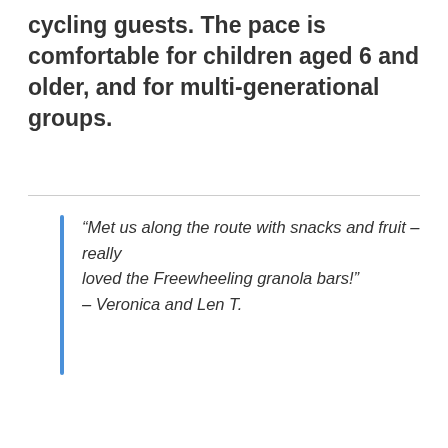cycling guests. The pace is comfortable for children aged 6 and older, and for multi-generational groups.
“Met us along the route with snacks and fruit – really loved the Freewheeling granola bars!” – Veronica and Len T.